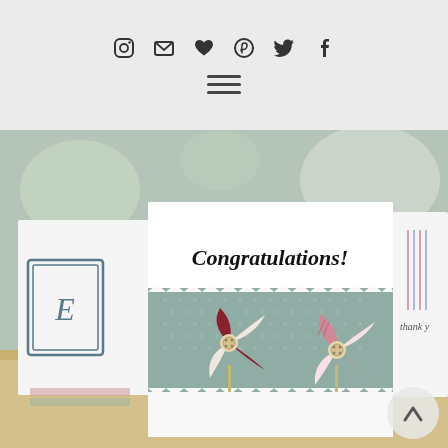Social media icons and navigation menu bar
[Figure (photo): A congratulations greeting card with a sage green polka-dot scalloped band and two paper pinwheel decorations (one floral dark red, one pink striped), each with a button center, on a wooden surface. Other cards visible in background including a 'thank you' card.]